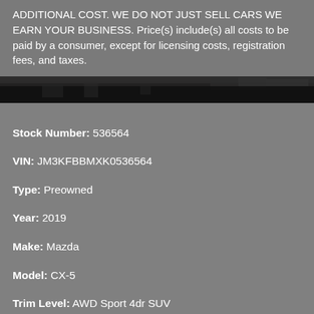ADDITIONAL COST. WE DO NOT JUST SELL CARS WE EARN YOUR BUSINESS. Price(s) include(s) all costs to be paid by a consumer, except for licensing costs, registration fees, and taxes.
[Figure (photo): Dark nighttime cityscape strip image]
Stock Number: 536564
VIN: JM3KFBBMXK0536564
Type: Preowned
Year: 2019
Make: Mazda
Model: CX-5
Trim Level: AWD Sport 4dr SUV
Engine: 2.5 liter I4
Transmission: 6-Speed Shiftable Automatic
Body Style: SUV
Exterior: Black
Interior: Black
Mileage: 25,644
Fuel Economy: 24 City / 30 Highway